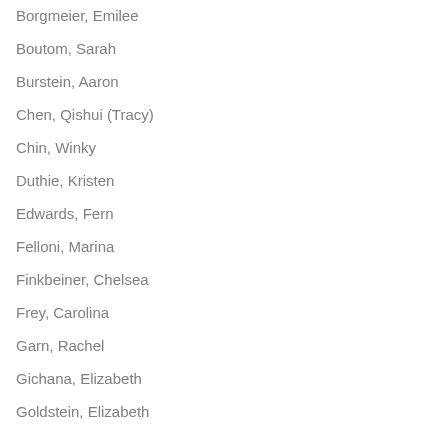Borgmeier, Emilee
Boutom, Sarah
Burstein, Aaron
Chen, Qishui (Tracy)
Chin, Winky
Duthie, Kristen
Edwards, Fern
Felloni, Marina
Finkbeiner, Chelsea
Frey, Carolina
Garn, Rachel
Gichana, Elizabeth
Goldstein, Elizabeth